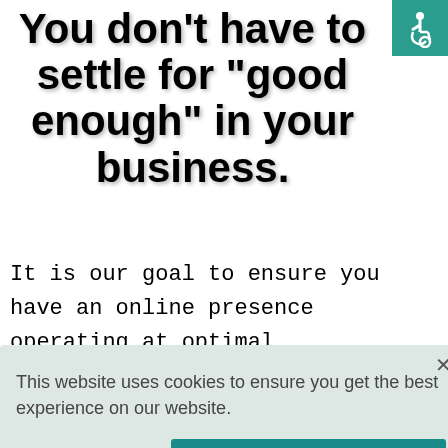You don't have to settle for "good enough" in your business.
[Figure (illustration): Accessibility icon - wheelchair user symbol in white on teal background]
It is our goal to ensure you have an online presence operating at optimal performance. After all, your website is so much more than a link to put on your business cards and/or
This website uses cookies to ensure you get the best experience on our website.
Decline
Accept